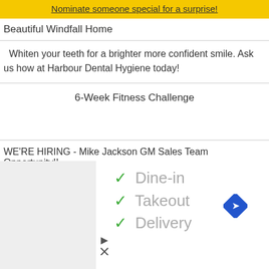Nominate someone special for a surprise!
Beautiful Windfall Home
Whiten your teeth for a brighter more confident smile. Ask us how at Harbour Dental Hygiene today!
6-Week Fitness Challenge
WE'RE HIRING - Mike Jackson GM Sales Team Opportunity!!
Check Out Our Nosey Neighbour Link!
Instant Update On List & Sold Properties In
[Figure (infographic): Advertisement banner with sweetFrog logo and checkmarks for Dine-in, Takeout, Delivery options, plus a navigation/maps icon.]